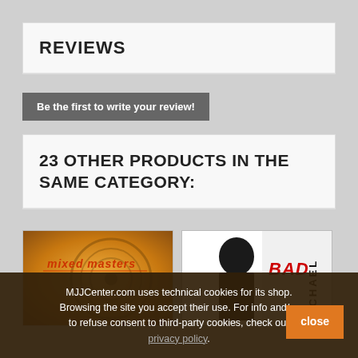REVIEWS
Be the first to write your review!
23 OTHER PRODUCTS IN THE SAME CATEGORY:
[Figure (photo): Album cover for Mixed Masters - orange/gold themed with record imagery and stylized text]
[Figure (photo): Michael Jackson BAD album cover - black and white photo of Michael Jackson with red BAD text]
[Figure (photo): Partially visible third album cover]
MJJCenter.com uses technical cookies for its shop. Browsing the site you accept their use. For info and/or to refuse consent to third-party cookies, check our privacy policy.
close